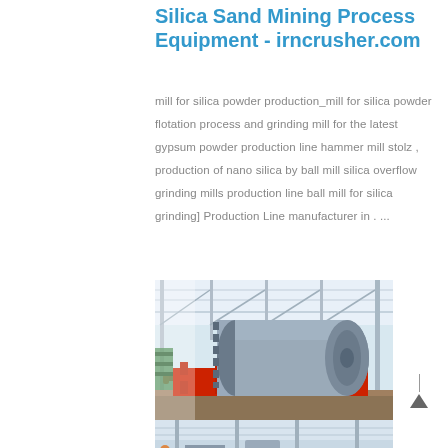Silica Sand Mining Process Equipment - irncrusher.com
mill for silica powder production_mill for silica powder flotation process and grinding mill for the latest gypsum powder production line hammer mill stolz , production of nano silica by ball mill silica overflow grinding mills production line ball mill for silica grinding] Production Line manufacturer in . ...
[Figure (photo): Large industrial ball mill mounted on red steel frame inside a factory building with steel structure roof. Gray cylindrical drum with gear ring visible.]
[Figure (photo): Interior view of industrial facility showing machinery and equipment.]